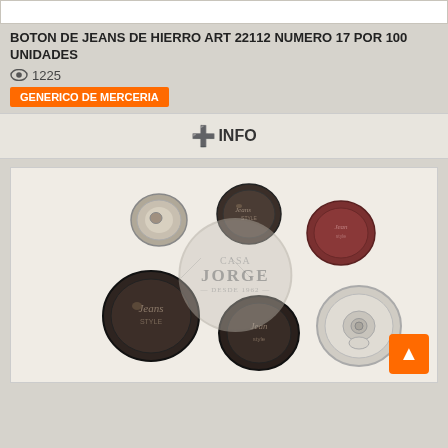BOTON DE JEANS DE HIERRO ART 22112 NUMERO 17 POR 100 UNIDADES
1225
GENERICO DE MERCERIA
+INFO
[Figure (photo): Six metal jeans buttons with 'Jeans Style' text engraved. Buttons are dark bronze/gunmetal colored, one is reddish/maroon. A Casa Jorge watermark is overlaid on the image.]